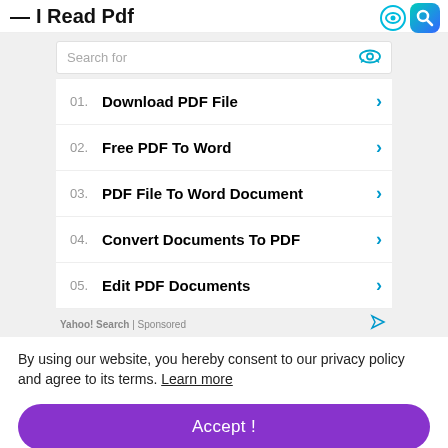— I Read Pdf
Search for
01. Download PDF File
02. Free PDF To Word
03. PDF File To Word Document
04. Convert Documents To PDF
05. Edit PDF Documents
Yahoo! Search | Sponsored
By using our website, you hereby consent to our privacy policy and agree to its terms. Learn more
Accept !